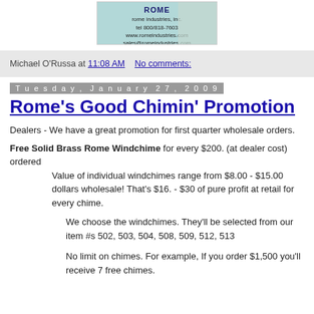[Figure (photo): Rome Industries Inc. advertisement image with logo, contact info (tel 800/818-7603, www.romeindustries.com, sales@romeindustries.com) and a person in a grey hoodie gesturing]
Michael O'Russa at 11:08 AM   No comments:
Tuesday, January 27, 2009
Rome's Good Chimin' Promotion
Dealers - We have a great promotion for first quarter wholesale orders.
Free Solid Brass Rome Windchime for every $200. (at dealer cost) ordered Value of individual windchimes range from $8.00 - $15.00 dollars wholesale! That's $16. - $30 of pure profit at retail for every chime.
We choose the windchimes. They'll be selected from our item #s 502, 503, 504, 508, 509, 512, 513
No limit on chimes. For example, If you order $1,500 you'll receive 7 free chimes.